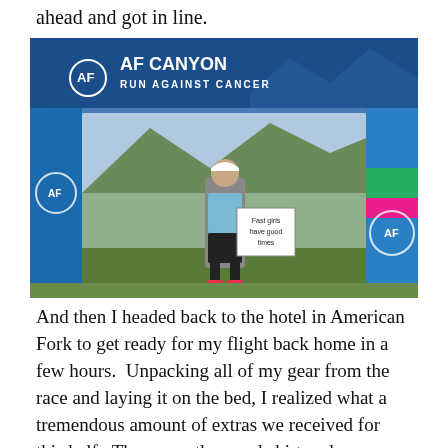ahead and got in line.
[Figure (photo): A runner in athletic gear standing under an AF Canyon Run Against Cancer blue event tent/arch, holding a sign that reads 'Fast girls have good times'. The background shows a large banner with mountain scenery. The runner wears a white cap, tank top, black shorts, and pink shoes.]
And then I headed back to the hotel in American Fork to get ready for my flight back home in a few hours.  Unpacking all of my gear from the race and laying it on the bed, I realized what a tremendous amount of extras we received for this half.  There was the usual shirt and